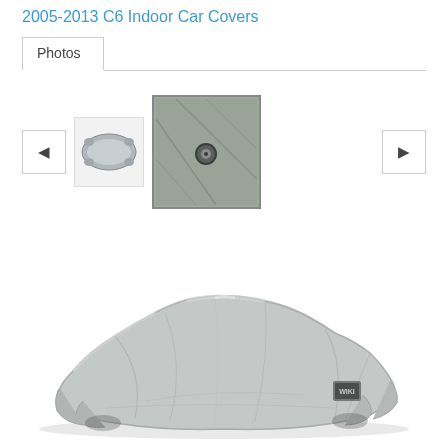2005-2013 C6 Indoor Car Covers
Photos
[Figure (photo): Two small thumbnails of car cover product: first shows a grey car cover fitted on a car (overhead/side view), second shows grey fabric material with a grommet]
[Figure (photo): Large main product photo showing a grey indoor car cover fitted over a sports car (Corvette C6), displayed on a white background, with a small brand logo patch visible on the rear quarter]